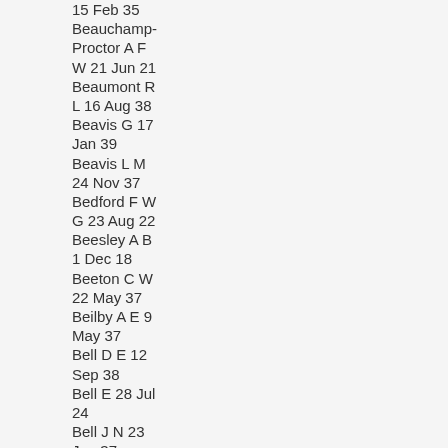15 Feb 35
Beauchamp-Proctor A F W 21 Jun 21
Beaumont R L 16 Aug 38
Beavis G 17 Jan 39
Beavis L M 24 Nov 37
Bedford F W G 23 Aug 22
Beesley A B 1 Dec 18
Beeton C W 22 May 37
Beilby A E 9 May 37
Bell D E 12 Sep 38
Bell E 28 Jul 24
Bell J N 23 Jan 37
Bell R E 31 Jan 33
Bell S F 16 Jun 27
Benfield A W 29 Nov 18